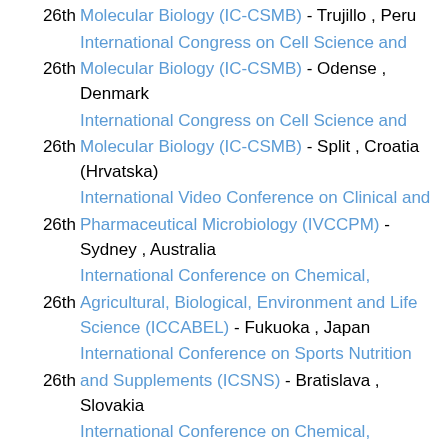26th International Congress on Cell Science and Molecular Biology (IC-CSMB) - Trujillo , Peru
26th International Congress on Cell Science and Molecular Biology (IC-CSMB) - Odense , Denmark
26th International Congress on Cell Science and Molecular Biology (IC-CSMB) - Split , Croatia (Hrvatska)
26th International Video Conference on Clinical and Pharmaceutical Microbiology (IVCCPM) - Sydney , Australia
26th International Conference on Chemical, Agricultural, Biological, Environment and Life Science (ICCABEL) - Fukuoka , Japan
26th International Conference on Sports Nutrition and Supplements (ICSNS) - Bratislava , Slovakia
26th International Conference on Chemical, Agricultural, Biological, Environment and Life Science (ICCABEL) - Fukuoka , Japan
26th International Conference on Chemical,